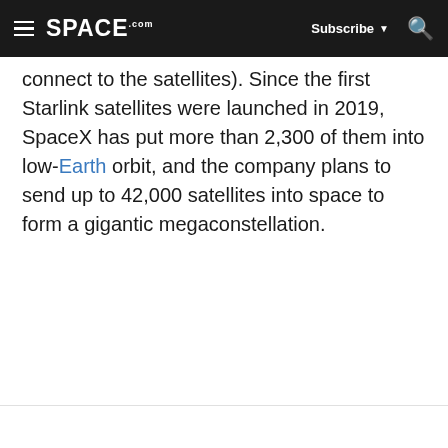SPACE.com | Subscribe | Search
connect to the satellites). Since the first Starlink satellites were launched in 2019, SpaceX has put more than 2,300 of them into low-Earth orbit, and the company plans to send up to 42,000 satellites into space to form a gigantic megaconstellation.